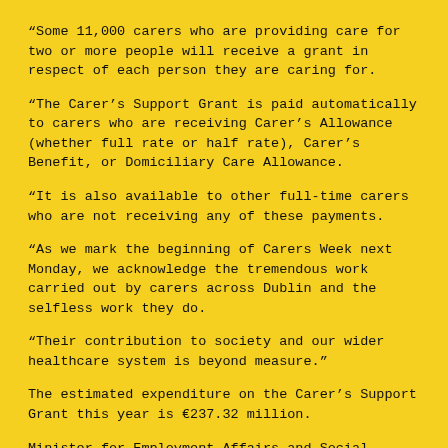“Some 11,000 carers who are providing care for two or more people will receive a grant in respect of each person they are caring for.
“The Carer’s Support Grant is paid automatically to carers who are receiving Carer’s Allowance (whether full rate or half rate), Carer’s Benefit, or Domiciliary Care Allowance.
“It is also available to other full-time carers who are not receiving any of these payments.
“As we mark the beginning of Carers Week next Monday, we acknowledge the tremendous work carried out by carers across Dublin and the selfless work they do.
“Their contribution to society and our wider healthcare system is beyond measure.”
The estimated expenditure on the Carer’s Support Grant this year is €237.32 million.
Minister for Employment Affairs and Social Protection, Regina Doherty said: “Today, 125,000 grants will be paid automatically to 114,000 people receiving the Carer’s Allowance, Carer’s Benefit, and Domiciliary Care